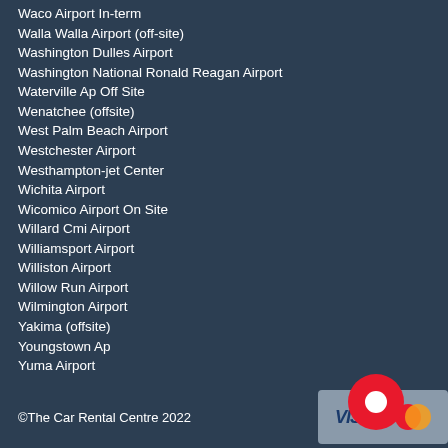Waco Airport In-term
Walla Walla Airport (off-site)
Washington Dulles Airport
Washington National Ronald Reagan Airport
Waterville Ap Off Site
Wenatchee (offsite)
West Palm Beach Airport
Westchester Airport
Westhampton-jet Center
Wichita Airport
Wicomico Airport On Site
Willard Cmi Airport
Williamsport Airport
Williston Airport
Willow Run Airport
Wilmington Airport
Yakima (offsite)
Youngstown Ap
Yuma Airport
©The Car Rental Centre 2022